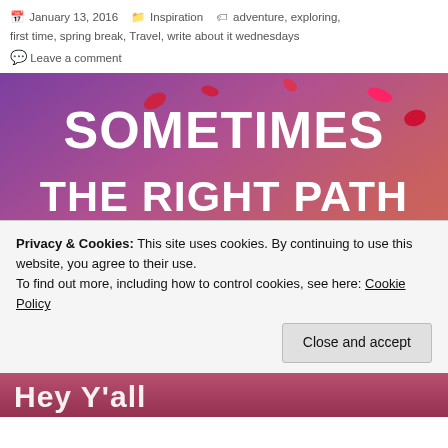January 13, 2016   Inspiration   adventure, exploring, first time, spring break, Travel, write about it wednesdays
Leave a comment
[Figure (illustration): Motivational quote image with gradient purple/pink/orange background and floating colorful petals. White bold text reads: SOMETIMES THE RIGHT PATH IS NOT THE EASIEST ONE]
Privacy & Cookies: This site uses cookies. By continuing to use this website, you agree to their use.
To find out more, including how to control cookies, see here: Cookie Policy
Close and accept
Hey Y'all